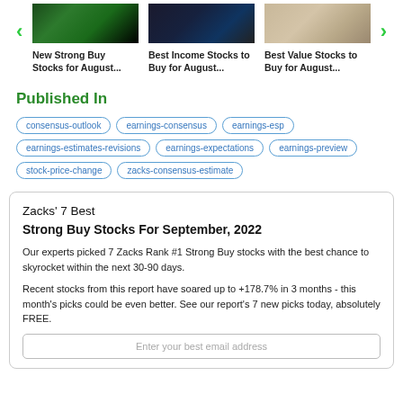[Figure (other): Carousel with three stock article thumbnails and navigation arrows. Left item: green stock ticker display image, titled 'New Strong Buy Stocks for August...'. Middle item: dark blue abstract image, titled 'Best Income Stocks to Buy for August...'. Right item: beige/tan hand-written notes image, titled 'Best Value Stocks to Buy for August...']
Published In
consensus-outlook
earnings-consensus
earnings-esp
earnings-estimates-revisions
earnings-expectations
earnings-preview
stock-price-change
zacks-consensus-estimate
Zacks' 7 Best
Strong Buy Stocks For September, 2022
Our experts picked 7 Zacks Rank #1 Strong Buy stocks with the best chance to skyrocket within the next 30-90 days.
Recent stocks from this report have soared up to +178.7% in 3 months - this month's picks could be even better. See our report's 7 new picks today, absolutely FREE.
Enter your best email address